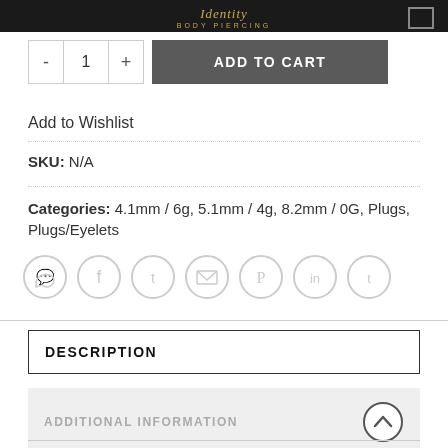BODY PIERCING
- 1 +   ADD TO CART
Add to Wishlist
SKU: N/A
Categories: 4.1mm / 6g, 5.1mm / 4g, 8.2mm / 0G, Plugs, Plugs/Eyelets
[Figure (other): Social sharing icons row: WhatsApp, Facebook, Twitter, Email, Pinterest, LinkedIn, Tumblr]
DESCRIPTION
ADDITIONAL INFORMATION